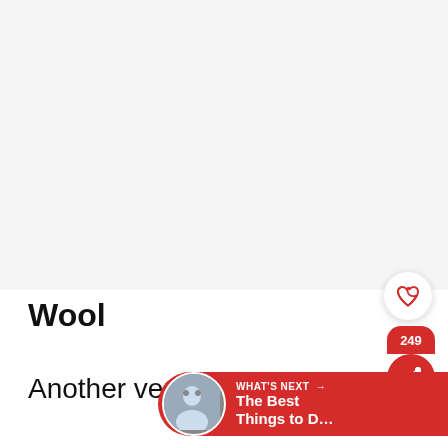[Figure (photo): Large image area (content not visible, appears blank/white) occupying the top portion of the page.]
Wool
Another very popular and w… material is wool. This textile fiber